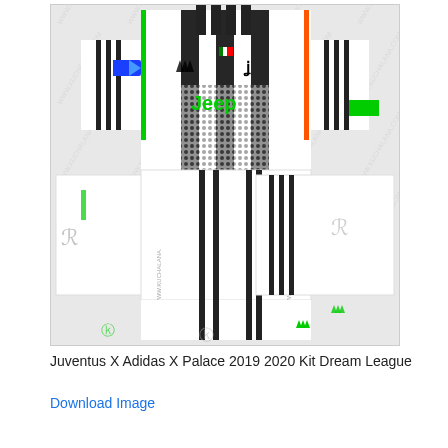[Figure (illustration): Juventus X Adidas X Palace 2019 2020 Dream League soccer kit template flat layout showing jersey and shorts in black and white stripes with Jeep sponsor, Adidas and Juventus logos, by Kuchalana watermark]
Juventus X Adidas X Palace 2019 2020 Kit Dream League
Download Image